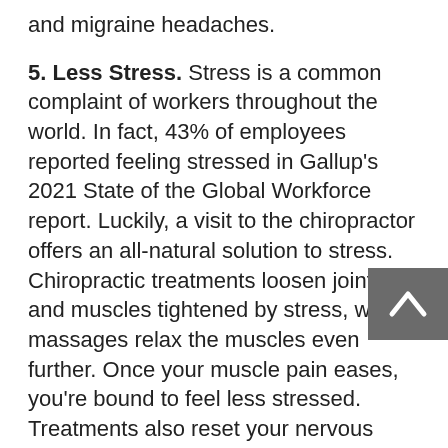and migraine headaches.
5. Less Stress. Stress is a common complaint of workers throughout the world. In fact, 43% of employees reported feeling stressed in Gallup's 2021 State of the Global Workforce report. Luckily, a visit to the chiropractor offers an all-natural solution to stress. Chiropractic treatments loosen joints and muscles tightened by stress, while massages relax the muscles even further. Once your muscle pain eases, you're bound to feel less stressed. Treatments also reset your nervous system, trigger endorphin production, and decrease the "fight or flight" adrenaline response that happens when you're stressed.
6. A Natural Treatment for Insomnia. Sleeping well is difficult if your back hurts or you're struggling with stress or anxiety. Chiropractic treatments and